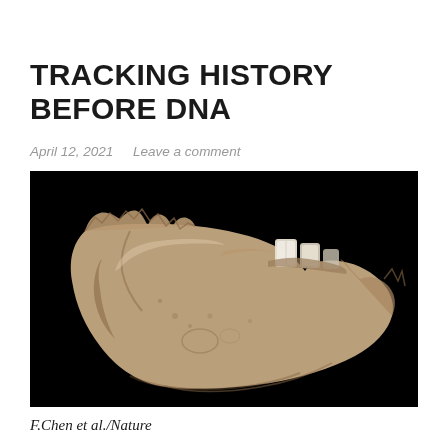TRACKING HISTORY BEFORE DNA
April 12, 2021   Leave a comment
[Figure (photo): Photograph of a fossil jawbone (mandible) fragment with partial teeth, photographed against a black background. The fossil appears tan/brown in color with a weathered, textured surface. Attribution: F.Chen et al./Nature]
F.Chen et al./Nature